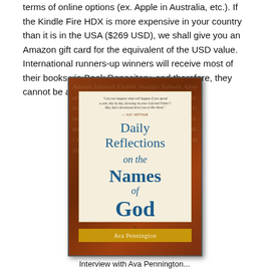terms of online options (ex. Apple in Australia, etc.). If the Kindle Fire HDX is more expensive in your country than it is in the USA ($269 USD), we shall give you an Amazon gift card for the equivalent of the USD value. International runners-up winners will receive most of their books via Book Depository, and therefore, they cannot be autographed—sorry.
[Figure (photo): Book cover of 'Daily Reflections on the Names of God: A Devotional' by Ava Pennington, shown against a brown/russet background with script text overlay. The cover features the title in blue serif font on a cream/ivory background with a gold author band at the bottom.]
Interview with Ava Pennington...